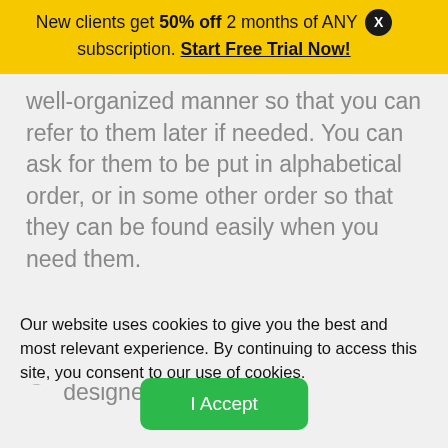New clients get 50% off 2 months of ANY subscription. Start Free Trial Now!
well-organized manner so that you can refer to them later if needed. You can ask for them to be put in alphabetical order, or in some other order so that they can be found easily when you need them.
Well-documented – ask your designer
Our website uses cookies to give you the best and most relevant experience. By continuing to access this site, you consent to our use of cookies.
I Accept